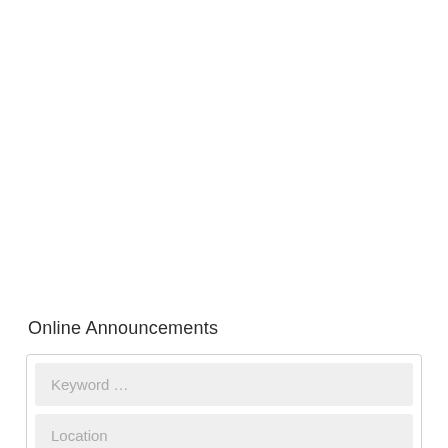Online Announcements
Keyword ...
Location